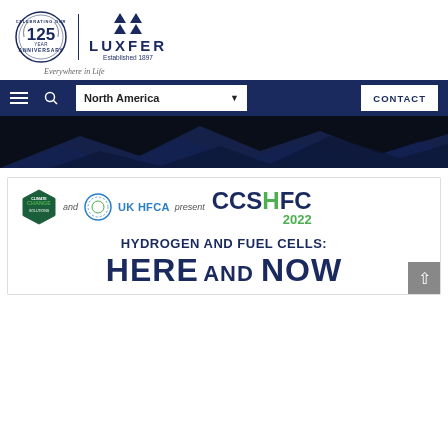[Figure (logo): Luxfer 125th Anniversary logo with circular badge saying Celebrating Our 125 Years Anniversary, vertical divider, Luxfer arrows icon, LUXFER text, Established 1897, and tagline Everywhere in Life]
[Figure (screenshot): Dark navy navigation bar with hamburger menu, search icon, North America dropdown selector, and CONTACT button]
[Figure (photo): Dark hero banner image with navy blue silhouette shapes on black background]
[Figure (logo): Climate Change Solutions hexagon badge and UK HFCA circular logo presenting CCSHFC 2022 event]
HYDROGEN AND FUEL CELLS:
HERE AND NOW